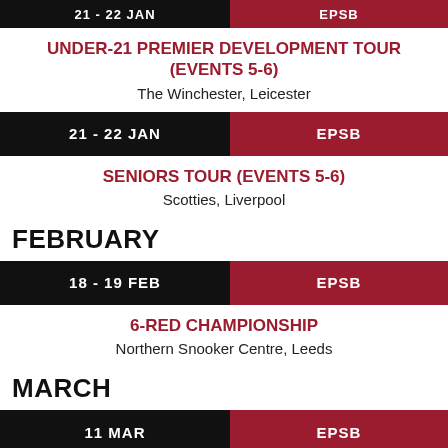21 - 22 JAN | EPSB
UNDER-21 PREMIER DEVELOPMENT TOUR (EVENTS 5-6)
The Winchester, Leicester
21 - 22 JAN | EPSB
SENIORS TOUR (EVENTS 5-6)
Scotties, Liverpool
FEBRUARY
18 - 19 FEB | EPSB
6-RED CHAMPIONSHIP
Northern Snooker Centre, Leeds
MARCH
11 MAR | EPSB